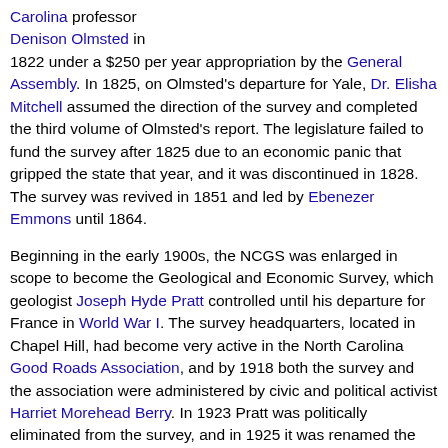Carolina professor Denison Olmsted in 1822 under a $250 per year appropriation by the General Assembly. In 1825, on Olmsted's departure for Yale, Dr. Elisha Mitchell assumed the direction of the survey and completed the third volume of Olmsted's report. The legislature failed to fund the survey after 1825 due to an economic panic that gripped the state that year, and it was discontinued in 1828. The survey was revived in 1851 and led by Ebenezer Emmons until 1864.
Beginning in the early 1900s, the NCGS was enlarged in scope to become the Geological and Economic Survey, which geologist Joseph Hyde Pratt controlled until his departure for France in World War I. The survey headquarters, located in Chapel Hill, had become very active in the North Carolina Good Roads Association, and by 1918 both the survey and the association were administered by civic and political activist Harriet Morehead Berry. In 1923 Pratt was politically eliminated from the survey, and in 1925 it was renamed the Department of Conservation and Development.